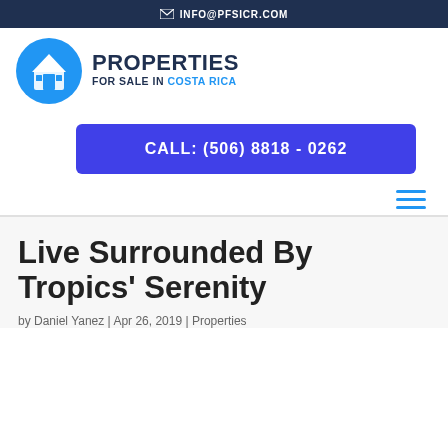✉ INFO@PFSICR.COM
[Figure (logo): Properties For Sale In Costa Rica logo — blue circle with white house icon, bold dark blue text PROPERTIES and subtitle FOR SALE IN COSTA RICA in blue]
CALL: (506) 8818 - 0262
[Figure (other): Hamburger menu icon with three horizontal blue lines]
Live Surrounded By Tropics' Serenity
by Daniel Yanez | Apr 26, 2019 | Properties